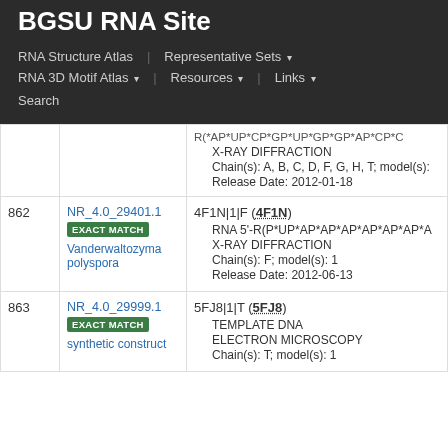BGSU RNA Site
RNA Structure Atlas | Representative Sets ▾ | RNA 3D Motif Atlas ▾ | Resources ▾ | Links ▾ | Search
| # | NR Set | Structure Details |
| --- | --- | --- |
|  |  | R(*AP*UP*CP*GP*UP*GP*GP*AP*CP*C... • X-RAY DIFFRACTION • Chain(s): A, B, C, D, F, G, H, T; model(s): • Release Date: 2012-01-18 |
| 862 | NR_4.0_29401.1
EXACT MATCH
Vanderwaltozyma polyspora | 4F1N|1|F (4F1N) • RNA 5'-R(P*UP*AP*AP*AP*AP*AP*AP*... • X-RAY DIFFRACTION • Chain(s): F; model(s): 1 • Release Date: 2012-06-13 |
| 863 | NR_4.0_29999.1
EXACT MATCH
synthetic construct | 5FJ8|1|T (5FJ8) • TEMPLATE DNA • ELECTRON MICROSCOPY • Chain(s): T; model(s): 1 |